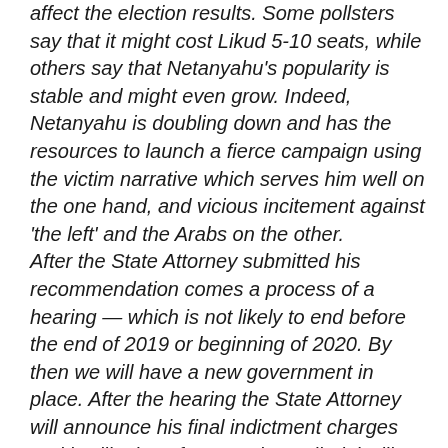affect the election results. Some pollsters say that it might cost Likud 5-10 seats, while others say that Netanyahu's popularity is stable and might even grow. Indeed, Netanyahu is doubling down and has the resources to launch a fierce campaign using the victim narrative which serves him well on the one hand, and vicious incitement against 'the left' and the Arabs on the other. After the State Attorney submitted his recommendation comes a process of a hearing — which is not likely to end before the end of 2019 or beginning of 2020. By then we will have a new government in place. After the hearing the State Attorney will announce his final indictment charges and it will take a few months until trial will begin. The story is not over yet. If Netanyahu manages to keep his power and forms the next coalition, he will then promote legislation known colloquially as the 'French law',